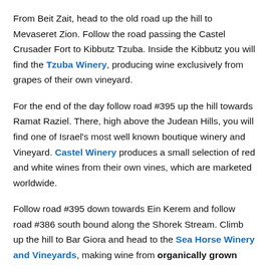From Beit Zait, head to the old road up the hill to Mevaseret Zion. Follow the road passing the Castel Crusader Fort to Kibbutz Tzuba. Inside the Kibbutz you will find the Tzuba Winery, producing wine exclusively from grapes of their own vineyard.
For the end of the day follow road #395 up the hill towards Ramat Raziel. There, high above the Judean Hills, you will find one of Israel's most well known boutique winery and Vineyard. Castel Winery produces a small selection of red and white wines from their own vines, which are marketed worldwide.
Follow road #395 down towards Ein Kerem and follow road #386 south bound along the Shorek Stream. Climb up the hill to Bar Giora and head to the Sea Horse Winery and Vineyards, making wine from organically grown